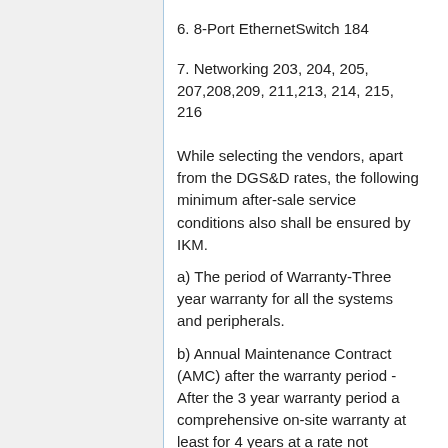6. 8-Port EthernetSwitch 184
7. Networking 203, 204, 205, 207,208,209, 211,213, 214, 215, 216
While selecting the vendors, apart from the DGS&D rates, the following minimum after-sale service conditions also shall be ensured by IKM.
a) The period of Warranty-Three year warranty for all the systems and peripherals.
b) Annual Maintenance Contract (AMC) after the warranty period - After the 3 year warranty period a comprehensive on-site warranty at least for 4 years at a rate not exceeding 4% per annum may be insisted.